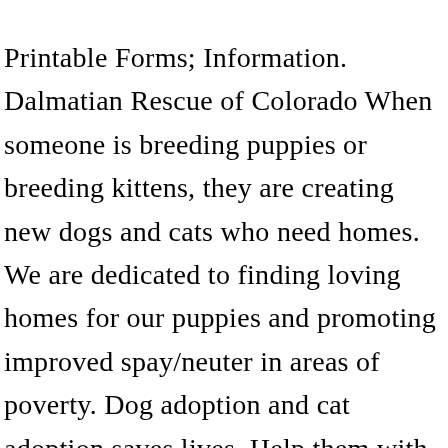Printable Forms; Information. Dalmatian Rescue of Colorado When someone is breeding puppies or breeding kittens, they are creating new dogs and cats who need homes. We are dedicated to finding loving homes for our puppies and promoting improved spay/neuter in areas of poverty. Dog adoption and cat adoption saves lives. Help them with their goal of keeping dogs happy and healthy by fostering or donating today! Because we believe in providing them with the best medical attention and the best living conditions, all of the dogs we rescue are first placed in loving